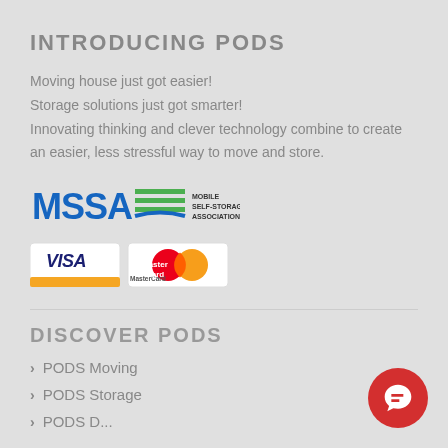INTRODUCING PODS
Moving house just got easier!
Storage solutions just got smarter!
Innovating thinking and clever technology combine to create an easier, less stressful way to move and store.
[Figure (logo): MSSA Mobile Self-Storage Association logo]
[Figure (logo): Visa and MasterCard payment logos]
DISCOVER PODS
PODS Moving
PODS Storage
PODS D...